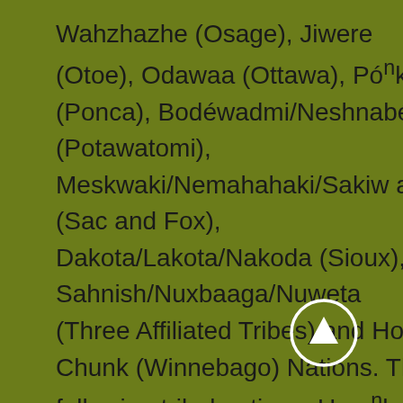Wahzhazhe (Osage), Jiwere (Otoe), Odawaa (Ottawa), Póⁿka (Ponca), Bodéwadmi/Neshnabé (Potawatomi), Meskwaki/Nemahahaki/Sakiwaki (Sac and Fox), Dakota/Lakota/Nakoda (Sioux), Sahnish/Nuxbaaga/Nuweta (Three Affiliated Tribes) and Ho-Chunk (Winnebago) Nations. The following tribal nations, Umoⁿhoⁿ (Omaha Tribe of Nebraska and Iowa), Póⁿka (Ponca Tribe of Nebraska), Meskwaki (Sac and Fox of the Mississippi in Iowa)